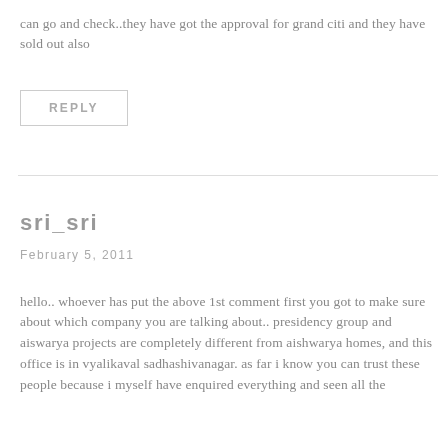can go and check..they have got the approval for grand citi and they have sold out also
REPLY
sri_sri
February 5, 2011
hello.. whoever has put the above 1st comment first you got to make sure about which company you are talking about.. presidency group and aiswarya projects are completely different from aishwarya homes, and this office is in vyalikaval sadhashivanagar. as far i know you can trust these people because i myself have enquired everything and seen all the